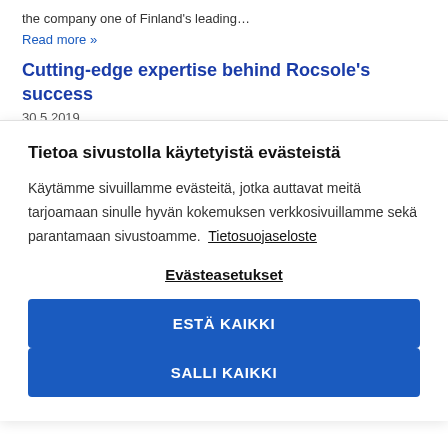the company one of Finland's leading…
Read more »
Cutting-edge expertise behind Rocsole's success
30.5.2019
Tietoa sivustolla käytetyistä evästeistä
Käytämme sivuillamme evästeitä, jotka auttavat meitä tarjoamaan sinulle hyvän kokemuksen verkkosivuillamme sekä parantamaan sivustoamme. Tietosuojaseloste
Evästeasetukset
ESTÄ KAIKKI
SALLI KAIKKI